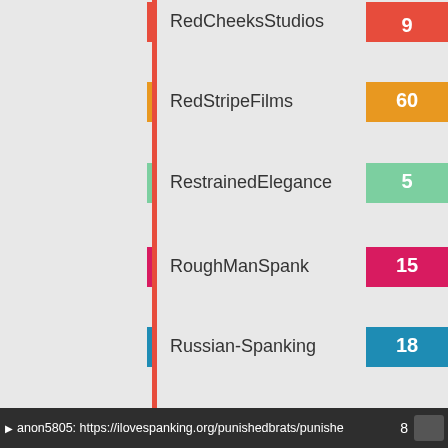[Figure (bar-chart): Studios chart (partial)]
anon5805: https://ilovespanking.org/punishedbrats/punishe 8